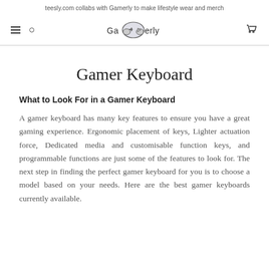teesly.com collabs with Gamerly to make lifestyle wear and merch
[Figure (logo): Gamerly logo with game controller icon and stylized text 'Gamerly']
Gamer Keyboard
What to Look For in a Gamer Keyboard
A gamer keyboard has many key features to ensure you have a great gaming experience. Ergonomic placement of keys, Lighter actuation force, Dedicated media and customisable function keys, and programmable functions are just some of the features to look for. The next step in finding the perfect gamer keyboard for you is to choose a model based on your needs. Here are the best gamer keyboards currently available.